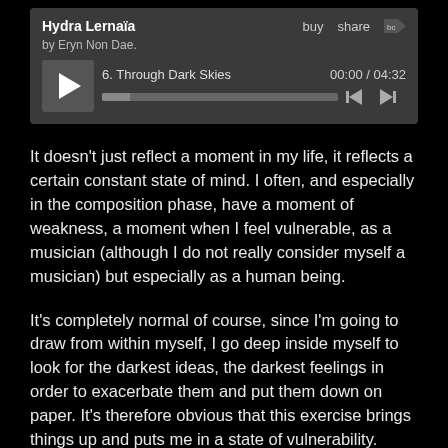[Figure (screenshot): Bandcamp music player widget showing album 'Hydra Lernaïa' by Eryn Non Dae. Track 6: Through Dark Skies, time 00:00 / 04:32, with play button, progress bar, and skip controls.]
It doesn't just reflect a moment in my life, it reflects a certain constant state of mind. I often, and especially in the composition phase, have a moment of weakness, a moment when I feel vulnerable, as a musician (although I do not really consider myself a musician) but especially as a human being.
It's completely normal of course, since I'm going to draw from within myself, I go deep inside myself to look for the darkest ideas, the darkest feelings in order to exacerbate them and put them down on paper. It's therefore obvious that this exercise brings things up and puts me in a state of vulnerability.